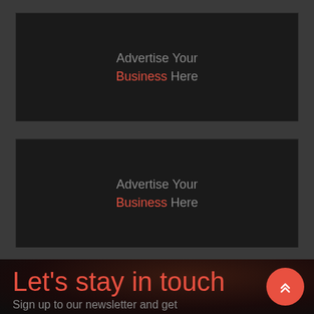[Figure (infographic): Dark advertisement placeholder box with text 'Advertise Your Business Here' where 'Business' is in red/coral color]
[Figure (infographic): Dark advertisement placeholder box with text 'Advertise Your Business Here' where 'Business' is in red/coral color]
Let's stay in touch
Sign up to our newsletter and get